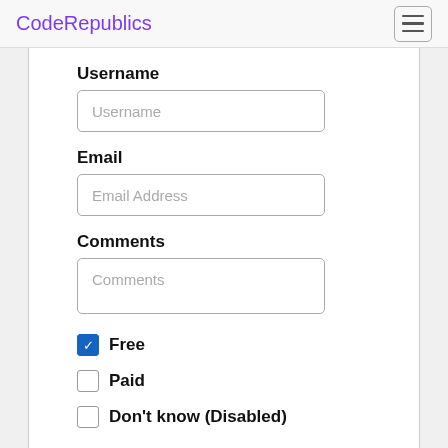CodeRepublics
Username
Username
Email
Email Address
Comments
Comments
Free
Paid
Don't know (Disabled)